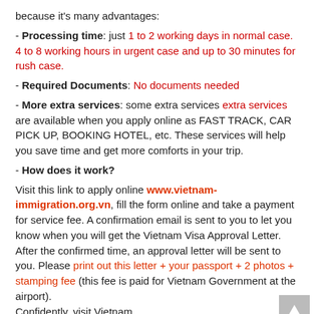because it's many advantages:
- Processing time: just 1 to 2 working days in normal case. 4 to 8 working hours in urgent case and up to 30 minutes for rush case.
- Required Documents: No documents needed
- More extra services: some extra services extra services are available when you apply online as FAST TRACK, CAR PICK UP, BOOKING HOTEL, etc. These services will help you save time and get more comforts in your trip.
- How does it work?
Visit this link to apply online www.vietnam-immigration.org.vn, fill the form online and take a payment for service fee. A confirmation email is sent to you to let you know when you will get the Vietnam Visa Approval Letter. After the confirmed time, an approval letter will be sent to you. Please print out this letter + your passport + 2 photos + stamping fee (this fee is paid for Vietnam Government at the airport). Confidently, visit Vietnam.
2. Apply via VIETNAM EMBASSY! Then get visa stamped at Malaysia
Vietnamese Embassy in Kuala Lumpur, Malaysia